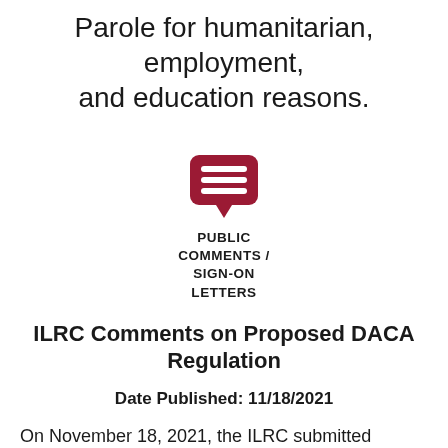Parole for humanitarian, employment, and education reasons.
[Figure (logo): Dark red speech bubble icon with three horizontal white lines inside, representing public comments / sign-on letters]
PUBLIC COMMENTS / SIGN-ON LETTERS
ILRC Comments on Proposed DACA Regulation
Date Published: 11/18/2021
On November 18, 2021, the ILRC submitted comments making recommendations to USCIS regarding the agency's proposed